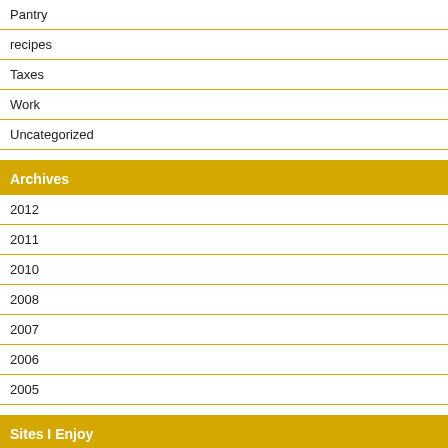Pantry
recipes
Taxes
Work
Uncategorized
Archives
2012
2011
2010
2008
2007
2006
2005
Sites I Enjoy
Bank Deals
Coupon Cabin
Coupon Mom
Living Simply